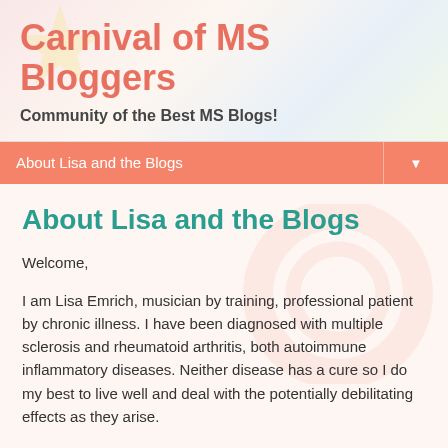Carnival of MS Bloggers
Community of the Best MS Blogs!
About Lisa and the Blogs
About Lisa and the Blogs
Welcome,
I am Lisa Emrich, musician by training, professional patient by chronic illness.  I have been diagnosed with multiple sclerosis and rheumatoid arthritis, both autoimmune inflammatory diseases.  Neither disease has a cure so I do my best to live well and deal with the potentially debilitating effects as they arise.
I am not a medical professional and information presented on Brass and Ivory: Life with MS and RA is not a substitute